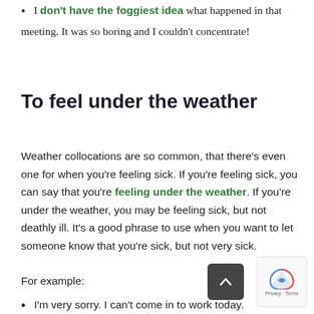I don't have the foggiest idea what happened in that meeting. It was so boring and I couldn't concentrate!
To feel under the weather
Weather collocations are so common, that there's even one for when you're feeling sick. If you're feeling sick, you can say that you're feeling under the weather. If you're under the weather, you may be feeling sick, but not deathly ill. It's a good phrase to use when you want to let someone know that you're sick, but not very sick.
For example:
I'm very sorry. I can't come in to work today.